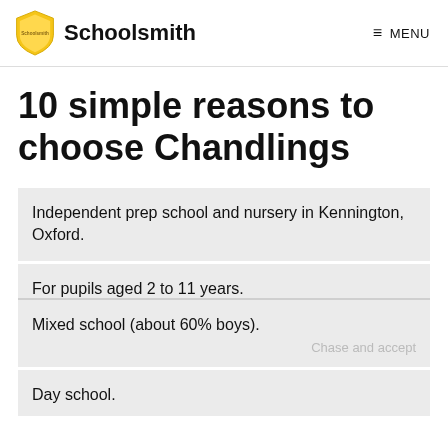Schoolsmith  MENU
10 simple reasons to choose Chandlings
Independent prep school and nursery in Kennington, Oxford.
For pupils aged 2 to 11 years.
Mixed school (about 60% boys).
Day school.